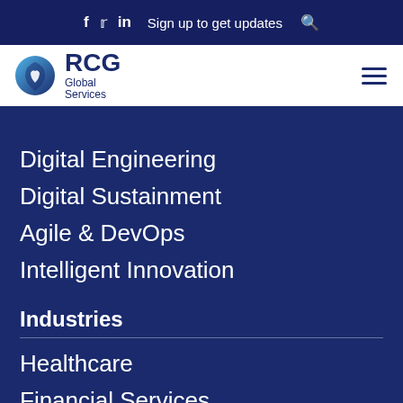f  tw  in  Sign up to get updates  🔍
[Figure (logo): RCG Global Services logo with blue shield icon on white bar, hamburger menu on right]
Digital Engineering
Digital Sustainment
Agile & DevOps
Intelligent Innovation
Industries
Healthcare
Financial Services
Insurance
Consumer
Insights & Innovation